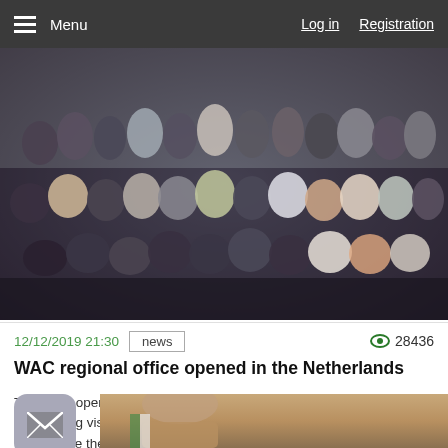Menu   Log in   Registration
[Figure (photo): Group photo of approximately 30 people gathered indoors, multiple rows, dark clothing, casual setting]
12/12/2019 21:30   news   28436 views
WAC regional office opened in the Netherlands
The WAC opened a new regional office in the Netherlands as part of the working visit of the Congress delegation to the Netherlands, which takes place these days.
[Figure (photo): Close-up portrait of a person, partial view, with a green and white item visible]